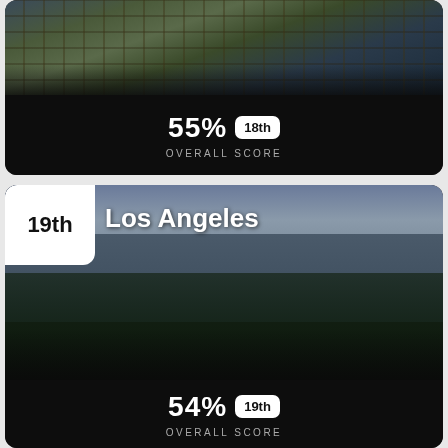[Figure (photo): Aerial city photo (top card) with dark overlay, showing urban street grid with buildings]
55% 18th
OVERALL SCORE
[Figure (photo): Los Angeles skyline photo with palm trees in foreground and cloudy sky, partially darkened]
Los Angeles
19th
54% 19th
OVERALL SCORE